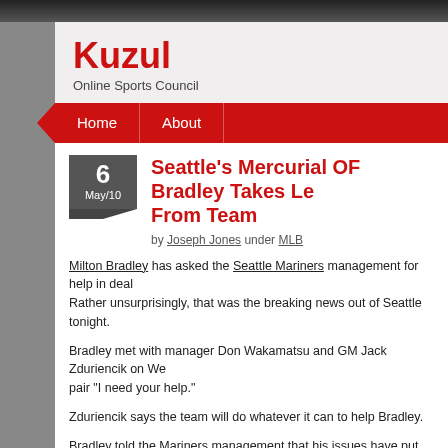Kuzul
Online Sports Council
Home | About
Seattle's Mercurial OF Bradley Takes Leave From Team
by Joseph Jones under MLB
Milton Bradley has asked the Seattle Mariners management for help in dealing with personal issues. Rather unsurprisingly, that was the breaking news out of Seattle tonight.
Bradley met with manager Don Wakamatsu and GM Jack Zduriencik on Wednesday and told the pair "I need your help."
Zduriencik says the team will do whatever it can to help Bradley.
Bradley told the Mariners management that his issues have put him in a position where he can't play the way he expects and that "It's been a long time coming."